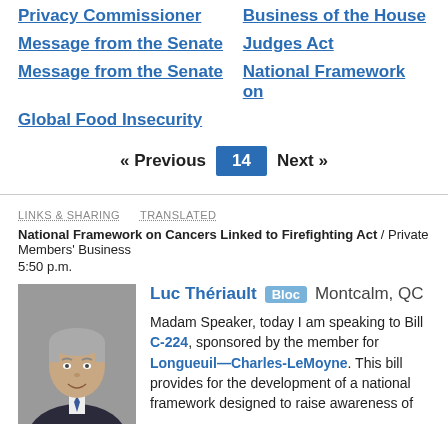Privacy Commissioner
Business of the House
Message from the Senate
Judges Act
Message from the Senate
National Framework on
Global Food Insecurity
« Previous  14  Next »
LINKS & SHARING   TRANSLATED
National Framework on Cancers Linked to Firefighting Act / Private Members' Business
5:50 p.m.
[Figure (photo): Headshot of Luc Thériault, a middle-aged man with grey hair, wearing a suit and tie, smiling.]
Luc Thériault  Bloc  Montcalm, QC

Madam Speaker, today I am speaking to Bill C-224, sponsored by the member for Longueuil—Charles-LeMoyne. This bill provides for the development of a national framework designed to raise awareness of